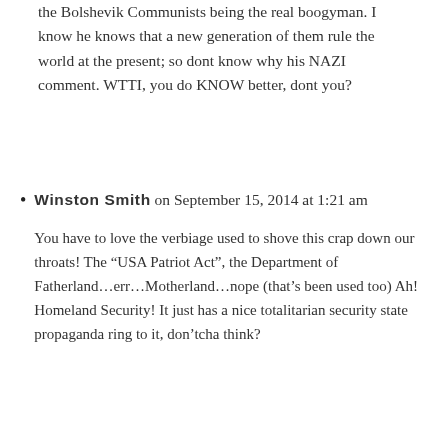the Bolshevik Communists being the real boogyman. I know he knows that a new generation of them rule the world at the present; so dont know why his NAZI comment. WTTI, you do KNOW better, dont you?
Winston Smith on September 15, 2014 at 1:21 am

You have to love the verbiage used to shove this crap down our throats! The “USA Patriot Act”, the Department of Fatherland…err…Motherland…nope (that’s been used too) Ah! Homeland Security! It just has a nice totalitarian security state propaganda ring to it, don’tcha think?